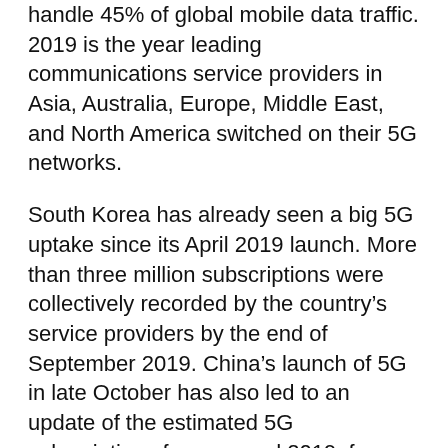handle 45% of global mobile data traffic. 2019 is the year leading communications service providers in Asia, Australia, Europe, Middle East, and North America switched on their 5G networks.
South Korea has already seen a big 5G uptake since its April 2019 launch. More than three million subscriptions were collectively recorded by the country's service providers by the end of September 2019. China's launch of 5G in late October has also led to an update of the estimated 5G subscriptions for year-end 2019, from 10 million to 13 million, Ericsson says.
Ericsson executive vice president and head of networks Fredrik Jejdling says, “It is encouraging to see that 5G now has broad support from almost all device makers. In 2020, 5G-compatible devices will enter the volume market, which will scale up 5G adoption.